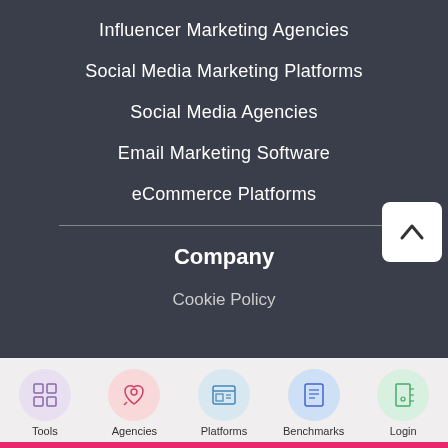Influencer Marketing Agencies
Social Media Marketing Platforms
Social Media Agencies
Email Marketing Software
eCommerce Platforms
Company
Cookie Policy
[Figure (illustration): Bottom navigation bar with five icon buttons: Tools (grid icon, purple circle), Agencies (rocket icon, pink circle), Platforms (browser icon, light blue circle), Benchmarks (document/list icon, blue circle), Login (door icon, green circle)]